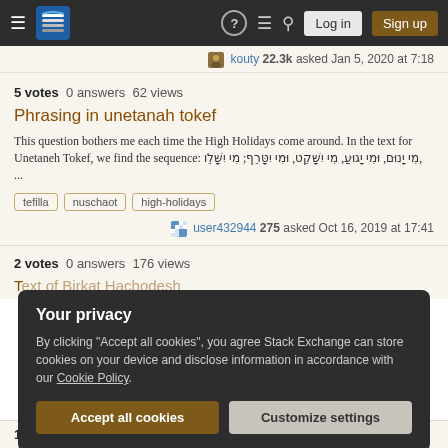Stack Exchange navigation bar with Log in and Sign up buttons
kouty 22.3k asked Jan 5, 2020 at 7:18
5 votes  0 answers  62 views
Phrasing in unetanah tokef
This question bothers me each time the High Holidays come around. In the text for Unetaneh Tokef, we find the sequence: מִי יָנוּם, וּמִי יָגוּעַ, מִי יִשָּׁקֵט, וּמִי יִטָּרֵף; מִי יִשָּׁלֵו, ...
tefilla
nuschaot
high-holidays
user432944 275 asked Oct 16, 2019 at 17:41
2 votes  0 answers  176 views
Your privacy
By clicking "Accept all cookies", you agree Stack Exchange can store cookies on your device and disclose information in accordance with our Cookie Policy.
Accept all cookies
Customize settings
1 vote  0 answers  78 views